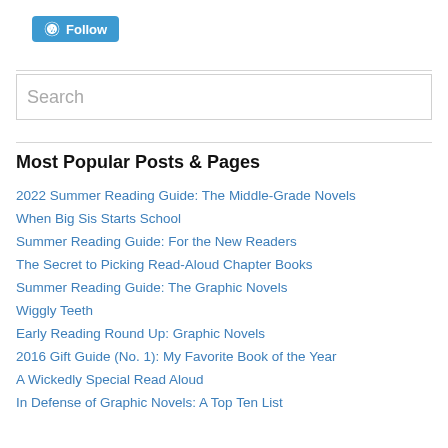[Figure (logo): WordPress Follow button with W logo in blue]
Most Popular Posts & Pages
2022 Summer Reading Guide: The Middle-Grade Novels
When Big Sis Starts School
Summer Reading Guide: For the New Readers
The Secret to Picking Read-Aloud Chapter Books
Summer Reading Guide: The Graphic Novels
Wiggly Teeth
Early Reading Round Up: Graphic Novels
2016 Gift Guide (No. 1): My Favorite Book of the Year
A Wickedly Special Read Aloud
In Defense of Graphic Novels: A Top Ten List